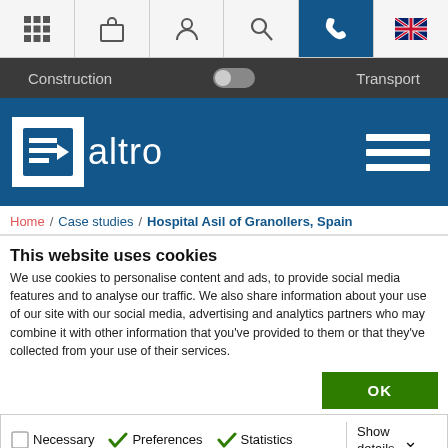Navigation icons: grid, bag, person, search, phone, UK flag
Construction | toggle | Transport
[Figure (logo): Altro brand logo: white square with blue arrow/document icon, white text 'altro' on blue background, hamburger menu icon on right]
Home / Case studies / Hospital Asil of Granollers, Spain
This website uses cookies
We use cookies to personalise content and ads, to provide social media features and to analyse our traffic. We also share information about your use of our site with our social media, advertising and analytics partners who may combine it with other information that you've provided to them or that they've collected from your use of their services.
OK
Necessary  Preferences  Statistics  Marketing  Show details